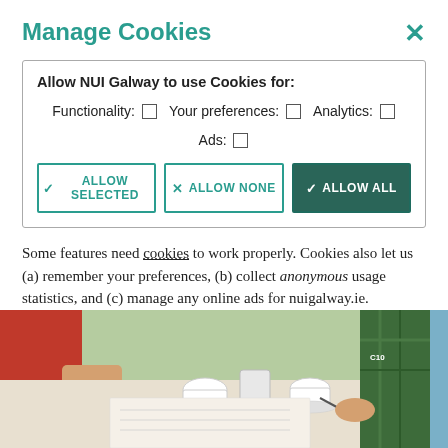Manage Cookies
Allow NUI Galway to use Cookies for:
Functionality: □ Your preferences: □ Analytics: □
Ads: □
ALLOW SELECTED   ALLOW NONE   ALLOW ALL
Some features need cookies to work properly. Cookies also let us (a) remember your preferences, (b) collect anonymous usage statistics, and (c) manage any online ads for nuigalway.ie.
No personal data is stored on these cookies but, under EU law, we still need to ask you this every 6 months. To learn more about our use of cookies, view our Privacy Policy.
[Figure (photo): Photo of students sitting around a table with coffee cups, notebooks, and pens, working together]